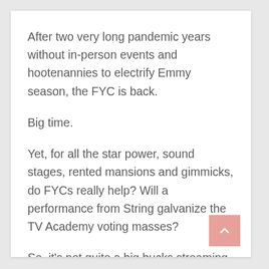After two very long pandemic years without in-person events and hootenannies to electrify Emmy season, the FYC is back.
Big time.
Yet, for all the star power, sound stages, rented mansions and gimmicks, do FYCs really help? Will a performance from String galvanize the TV Academy voting masses?
So, it's not quite a big bucks streaming service FYC panel with the looming mountains of free food and booze, but take a listen to our discussion here: